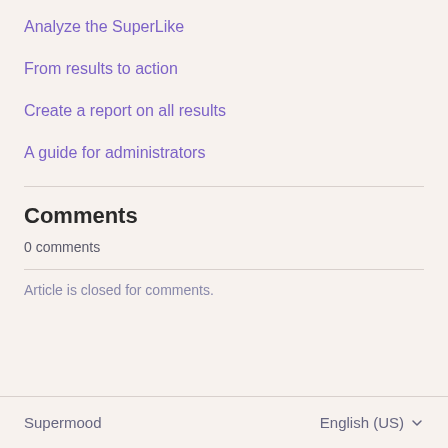Analyze the SuperLike
From results to action
Create a report on all results
A guide for administrators
Comments
0 comments
Article is closed for comments.
Supermood    English (US)